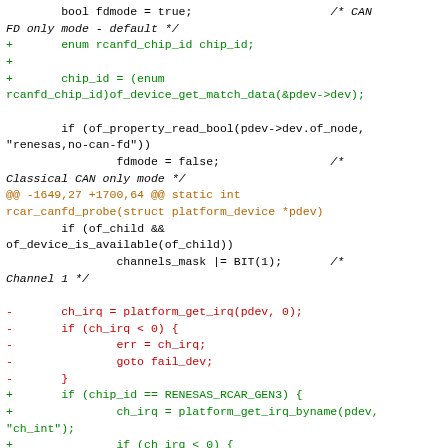[Figure (screenshot): Code diff snippet showing C source code changes for rcanfd driver. Contains normal (black), added (green), removed (red), and hunk header (orange) lines in monospace font.]